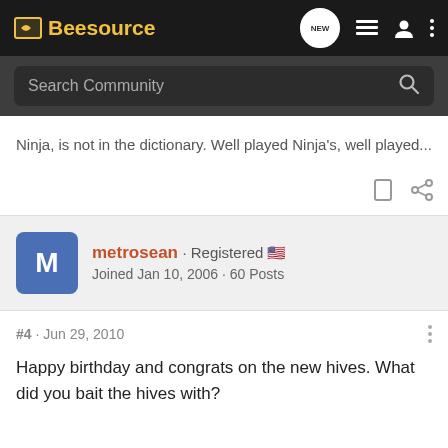Beesource
Ninja, is not in the dictionary. Well played Ninja's, well played...
metrosean · Registered · Joined Jan 10, 2006 · 60 Posts
#4 · Jun 29, 2010
Happy birthday and congrats on the new hives. What did you bait the hives with?